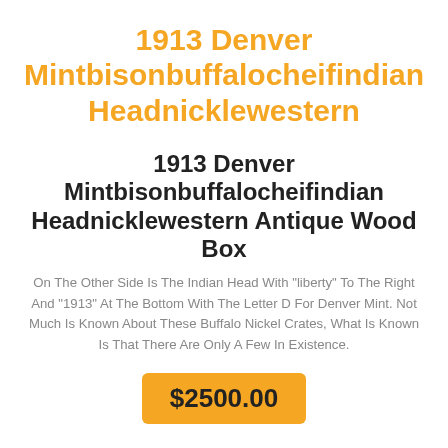1913 Denver Mintbisonbuffalocheifindian Headnicklewestern
1913 Denver Mintbisonbuffalocheifindian Headnicklewestern Antique Wood Box
On The Other Side Is The Indian Head With "liberty" To The Right And "1913" At The Bottom With The Letter D For Denver Mint. Not Much Is Known About These Buffalo Nickel Crates, What Is Known Is That There Are Only A Few In Existence.
$2500.00